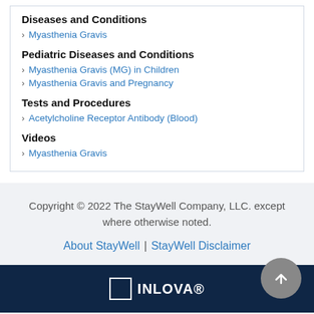Diseases and Conditions
Myasthenia Gravis
Pediatric Diseases and Conditions
Myasthenia Gravis (MG) in Children
Myasthenia Gravis and Pregnancy
Tests and Procedures
Acetylcholine Receptor Antibody (Blood)
Videos
Myasthenia Gravis
Copyright © 2022 The StayWell Company, LLC. except where otherwise noted.
About StayWell | StayWell Disclaimer